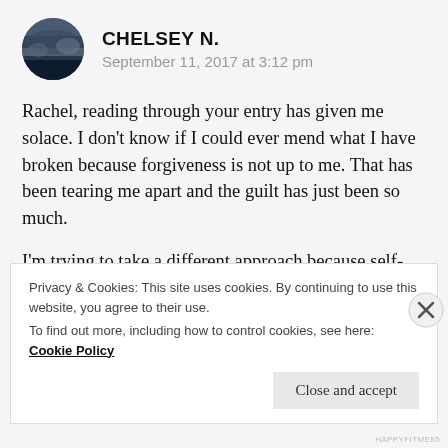CHELSEY N. — September 11, 2017 at 3:12 pm
Rachel, reading through your entry has given me solace. I don't know if I could ever mend what I have broken because forgiveness is not up to me. That has been tearing me apart and the guilt has just been so much.
I'm trying to take a different approach because self-flagellation won't help anyone nor change me. I'm trying to make positive contributions to society to try
Privacy & Cookies: This site uses cookies. By continuing to use this website, you agree to their use.
To find out more, including how to control cookies, see here: Cookie Policy